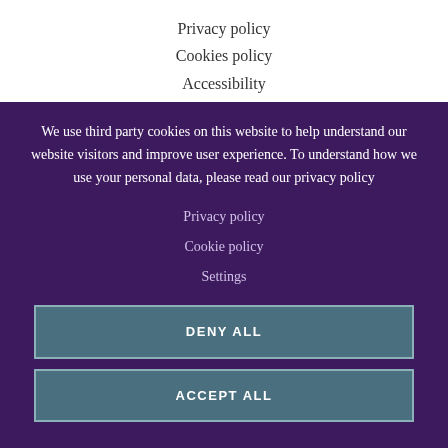Privacy policy
Cookies policy
Accessibility
We use third party cookies on this website to help understand our website visitors and improve user experience. To understand how we use your personal data, please read our privacy policy
Privacy policy
Cookie policy
Settings
DENY ALL
ACCEPT ALL